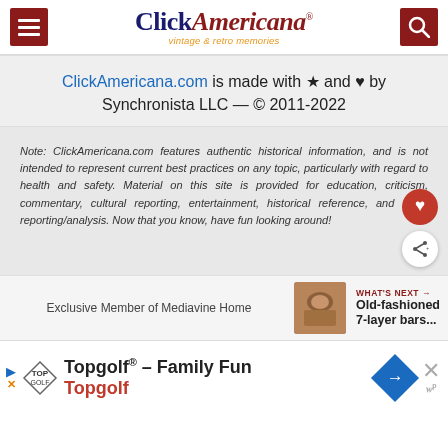[Figure (logo): Click Americana logo with menu and search buttons in dark red]
ClickAmericana.com is made with ★ and ♥ by Synchronista LLC — © 2011-2022
Note: ClickAmericana.com features authentic historical information, and is not intended to represent current best practices on any topic, particularly with regard to health and safety. Material on this site is provided for education, criticism, commentary, cultural reporting, entertainment, historical reference, and news reporting/analysis. Now that you know, have fun looking around!
Exclusive Member of Mediavine Home
WHAT'S NEXT → Old-fashioned 7-layer bars...
[Figure (screenshot): Topgolf advertisement banner at bottom of page]